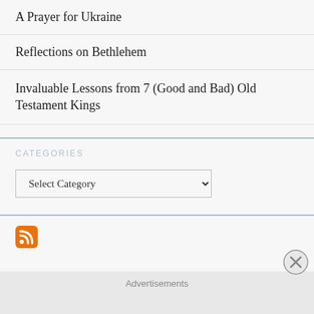A Prayer for Ukraine
Reflections on Bethlehem
Invaluable Lessons from 7 (Good and Bad) Old Testament Kings
CATEGORIES
Select Category
[Figure (other): RSS feed icon - orange rounded square with white RSS symbol]
Advertisements